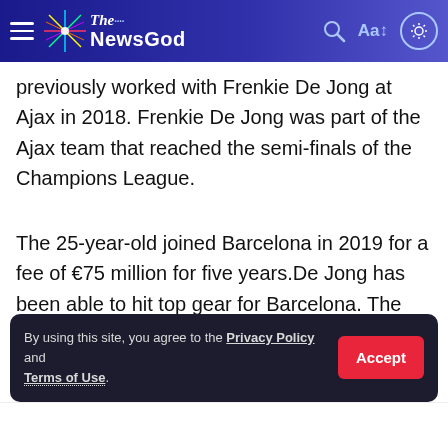The NewGod (navigation header)
previously worked with Frenkie De Jong at Ajax in 2018. Frenkie De Jong was part of the Ajax team that reached the semi-finals of the Champions League.
The 25-year-old joined Barcelona in 2019 for a fee of €75 million for five years.De Jong has been able to hit top gear for Barcelona. The Dutch midfielder has made 140 appearances for Barcelona scoring 13 goals.
However, Barcelona will only allow Frenkie De Jong to Manchester United if they can meet Barcelona's €80 million asking prices. Earlier this week Netherland National team coach Louis Van Gaal was quoted saying that Frenkie De Jong is worth €121 million.
By using this site, you agree to the Privacy Policy and Terms of Use.